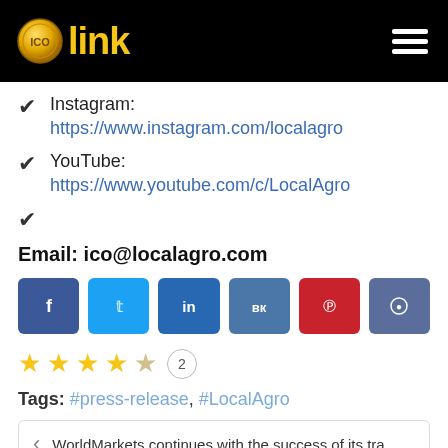[Figure (logo): ICOlink logo with gold coin and yellow text 'link' on black header background, with hamburger menu icon on right]
Instagram: https://www.instagram.com/localagro
YouTube: https://www.youtube.com/c/LocalAgro
Email: ico@localagro.com
[Figure (infographic): Social media share buttons: Facebook (dark blue), Twitter (light blue), LinkedIn (blue), VK (steel blue), Pinterest (red), Reddit (slate blue)]
[Figure (infographic): Star rating: 4 filled gold stars and 1 empty star, with vote count badge showing 2]
Tags: #press-release, #LocalAgro
WorldMarkets continues with the success of its tra...